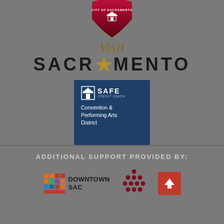[Figure (logo): City of Sacramento heart-shaped logo in red/dark red gradient with white 'CITY OF SACRAMENTO' text at top]
Visit SACRAMENTO
[Figure (logo): SAFE Credit Union Convention & Performing Arts District logo on navy blue background]
ADDITIONAL SUPPORT PROVIDED BY:
[Figure (logo): Downtown SAC logo with colorful bar chart icon and text DOWNTOWN SAC]
[Figure (logo): Concordia logo with red circle dot pattern icon]
[Figure (logo): Red square with white up arrow icon]